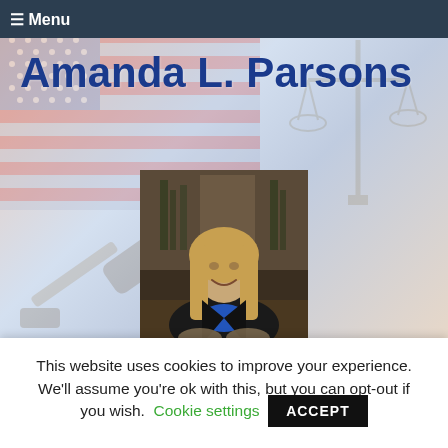≡ Menu
Amanda L. Parsons
[Figure (photo): Professional headshot of Amanda L. Parsons, a woman with long blonde hair wearing a black blazer and blue top, smiling, seated at a desk.]
This website uses cookies to improve your experience. We'll assume you're ok with this, but you can opt-out if you wish. Cookie settings ACCEPT